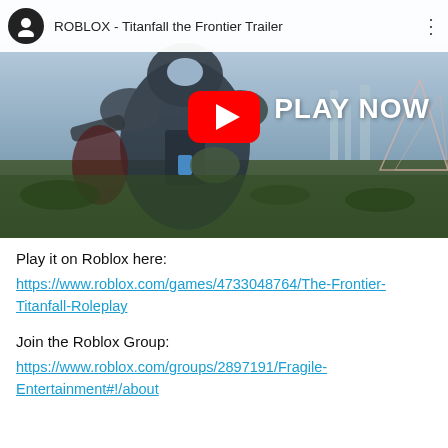[Figure (screenshot): YouTube video thumbnail showing ROBLOX - Titanfall the Frontier Trailer with a mech robot and 'PLAY NOW' text overlay, with YouTube play button in center]
Play it on Roblox here:
https://www.roblox.com/games/4733048764/The-Frontier-Titanfall-Roleplay
Join the Roblox Group:
https://www.roblox.com/groups/2897191/Fragile-Entertainment#!/about